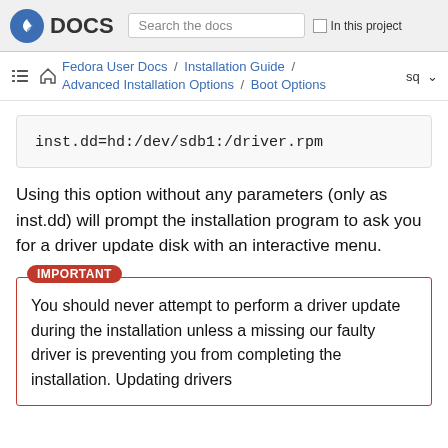DOCS | Search the docs | In this project
Fedora User Docs / Installation Guide / Advanced Installation Options / Boot Options  sq
inst.dd=hd:/dev/sdb1:/driver.rpm
Using this option without any parameters (only as inst.dd) will prompt the installation program to ask you for a driver update disk with an interactive menu.
IMPORTANT
You should never attempt to perform a driver update during the installation unless a missing our faulty driver is preventing you from completing the installation. Updating drivers